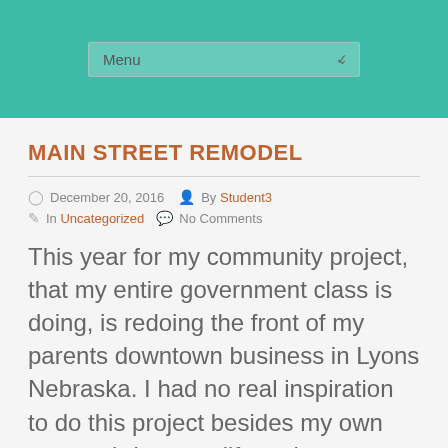Menu
MAIN STREET REMODEL
December 20, 2016  By Student3  In Uncategorized  No Comments
This year for my community project, that my entire government class is doing, is redoing the front of my parents downtown business in Lyons Nebraska. I had no real inspiration to do this project besides my own want to bring new life to the